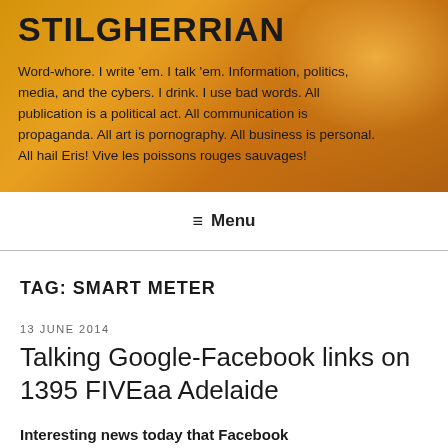STILGHERRIAN
Word-whore. I write 'em. I talk 'em. Information, politics, media, and the cybers. I drink. I use bad words. All publication is a political act. All communication is propaganda. All art is pornography. All business is personal. All hail Eris! Vive les poissons rouges sauvages!
≡ Menu
TAG: SMART METER
13 JUNE 2014
Talking Google-Facebook links on 1395 FIVEaa Adelaide
Interesting news today that Facebook